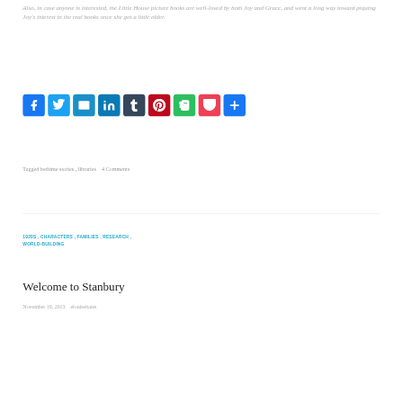Also, in case anyone is interested, the Little House picture books are well-loved by both Joy and Grace, and went a long way toward piquing Joy's interest in the real books once she got a little older.
[Figure (other): Social sharing buttons: Facebook, Twitter, Email, LinkedIn, Tumblr, Pinterest, Evernote, Pocket, Share]
Tagged bedtime stories , libraries   4 Comments
1920S , CHARACTERS , FAMILIES , RESEARCH , WORLD-BUILDING
Welcome to Stanbury
November 19, 2013   elouisebates